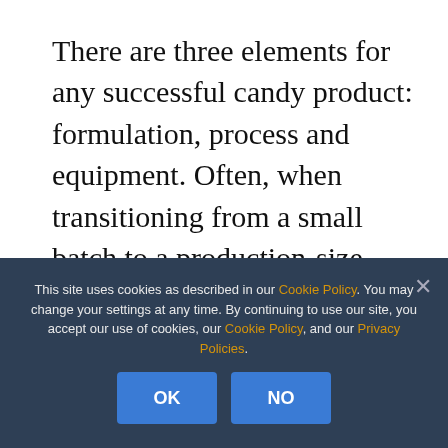There are three elements for any successful candy product: formulation, process and equipment. Often, when transitioning from a small batch to a production-size batch, people tend to focus first on the equipment they need and completely forget about adjusting the recipe. Gummies are especially fussy confections when it comes to recipe and
This site uses cookies as described in our Cookie Policy. You may change your settings at any time. By continuing to use our site, you accept our use of cookies, our Cookie Policy, and our Privacy Policies.